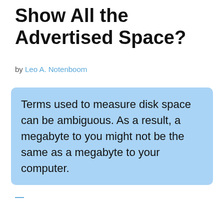Show All the Advertised Space?
by Leo A. Notenboom
Terms used to measure disk space can be ambiguous. As a result, a megabyte to you might not be the same as a megabyte to your computer.
—